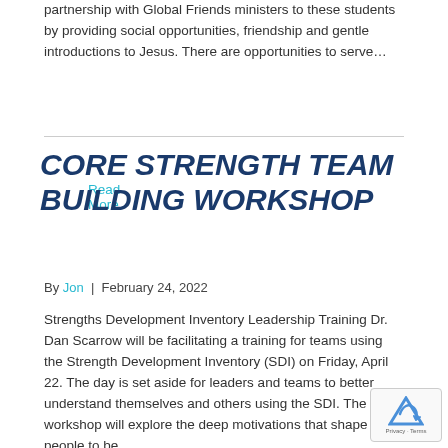partnership with Global Friends ministers to these students by providing social opportunities, friendship and gentle introductions to Jesus. There are opportunities to serve…
Read More
CORE STRENGTH TEAM BUILDING WORKSHOP
By Jon | February 24, 2022
Strengths Development Inventory Leadership Training Dr. Dan Scarrow will be facilitating a training for teams using the Strength Development Inventory (SDI) on Friday, April 22. The day is set aside for leaders and teams to better understand themselves and others using the SDI. The workshop will explore the deep motivations that shape people to be…